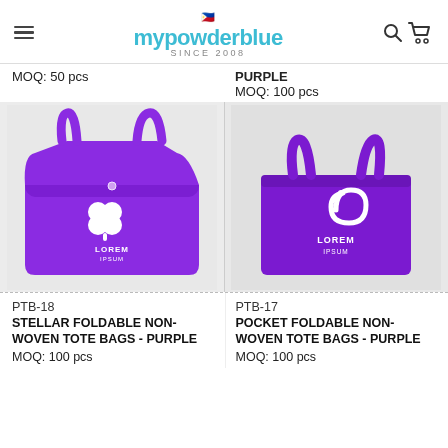mypowderblue SINCE 2008
MOQ: 50 pcs
PURPLE
MOQ: 100 pcs
[Figure (photo): Purple foldable non-woven tote bag with white clover/flower logo and LOREM IPSUM text]
[Figure (photo): Purple pocket foldable non-woven tote bag with white spiral logo and LOREM IPSUM text]
PTB-18
STELLAR FOLDABLE NON-WOVEN TOTE BAGS - PURPLE
MOQ: 100 pcs
PTB-17
POCKET FOLDABLE NON-WOVEN TOTE BAGS - PURPLE
MOQ: 100 pcs